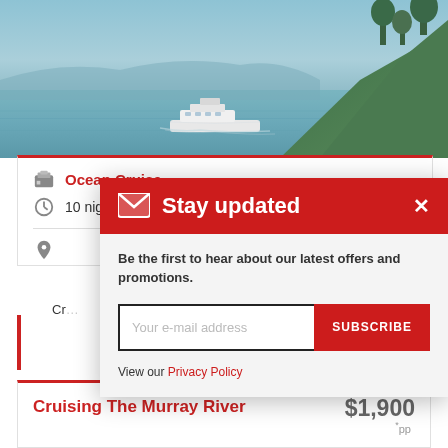[Figure (photo): Ocean cruise ship on calm water with forested hillside in background, scenic coastal view]
Ocean Cruise
10 nights
[Figure (screenshot): Stay updated popup modal with email subscription form. Header: Stay updated. Body: Be the first to hear about our latest offers and promotions. Input: Your e-mail address. Button: SUBSCRIBE. Link: View our Privacy Policy. Close button: x]
Cruising The Murray River
$1,900 pp